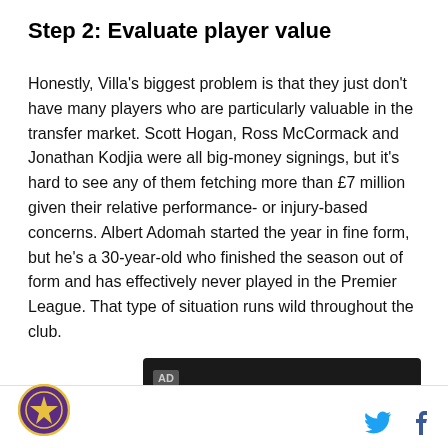Step 2: Evaluate player value
Honestly, Villa's biggest problem is that they just don't have many players who are particularly valuable in the transfer market. Scott Hogan, Ross McCormack and Jonathan Kodjia were all big-money signings, but it's hard to see any of them fetching more than £7 million given their relative performance- or injury-based concerns. Albert Adomah started the year in fine form, but he's a 30-year-old who finished the season out of form and has effectively never played in the Premier League. That type of situation runs wild throughout the club.
[Figure (other): Advertisement bar (AD label on dark background)]
Site logo, Twitter icon, Facebook icon